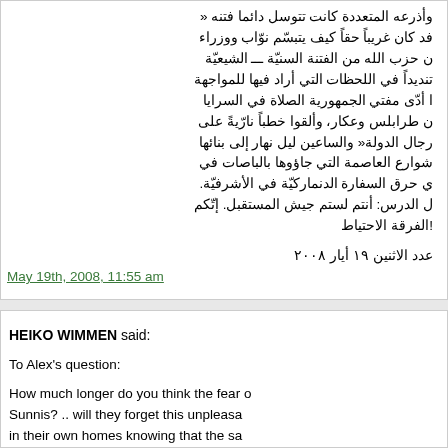وأذرعه المتعددة كانت تتوسل دائما فتنه ... فد كان غريباً حقاً كيف يتبسّم نوّاب ووزراء ... ن حزب الله من الفتنة السنيّة ___ الشيعيّة ... تنديداً في اللحظات التي أراد فيها للمواجهة ... ا أدّى مفتي الجمهورية الصلاة في السرايا ... ن طرابلس وعكار، وألقوا خطباً نارّيةً على ... رجال الدولة« والساعين ليل نهار إلى بنائها ... شوارع العاصمة التي جاؤوها بالباصات في ... ي حرق السفارة الدنماركيّة في الأشرفيّة. ... ل الدرس: أنتم لستم جيش المستقبل. إتّكم ... !الفرقة الاحتياط
عدد الاثنين ١٩ أيار ٢٠٠٨
May 19th, 2008, 11:55 am
HEIKO WIMMEN said:

To Alex's question:

How much longer do you think the fear of Sunnis? .. will they forget this unpleasant in their own homes knowing that the sa...

– This is very hard to judge, and depen... predict. Obviously, it will be no problem shell out pronouncements of rage, or fe... (re)arming etc. I find it very questionable... people (i.e. those in their mid-thirties a... wave of violence. The Druze and Christ... and supposedly allied with "the Sunnis"... right, and any atrocities that may have...